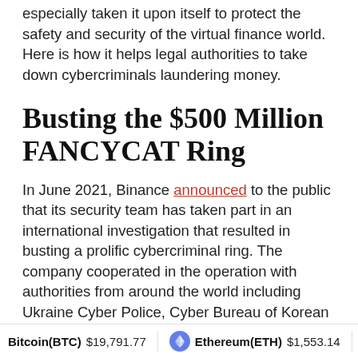especially taken it upon itself to protect the safety and security of the virtual finance world. Here is how it helps legal authorities to take down cybercriminals laundering money.
Busting the $500 Million FANCYCAT Ring
In June 2021, Binance announced to the public that its security team has taken part in an international investigation that resulted in busting a prolific cybercriminal ring. The company cooperated in the operation with authorities from around the world including Ukraine Cyber Police, Cyber Bureau of Korean National Police Agency, US Law Enforcement, Spanish Civil Guard, Swiss Federal Office of Police, and more. The ring was known as FANCYCAT...
Bitcoin(BTC) $19,791.77   Ethereum(ETH) $1,553.14   Carda...